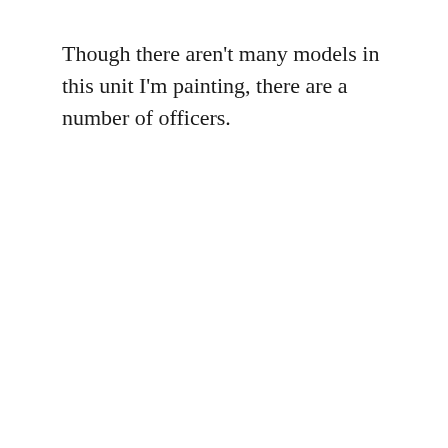Though there aren't many models in this unit I'm painting, there are a number of officers.